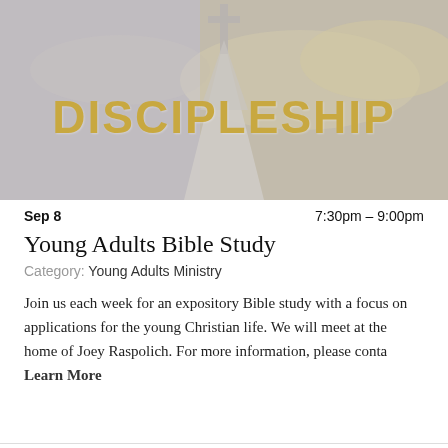[Figure (illustration): Church building with cross on top against a cloudy sky background, with the word DISCIPLESHIP overlaid in large gold bold letters]
Sep 8	7:30pm – 9:00pm
Young Adults Bible Study
Category: Young Adults Ministry
Join us each week for an expository Bible study with a focus on applications for the young Christian life. We will meet at the home of Joey Raspolich. For more information, please conta Learn More